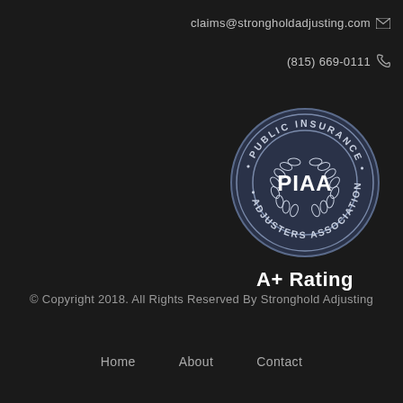claims@strongholdadjusting.com
(815) 669-0111
[Figure (logo): PIAA Public Insurance Adjusters Association circular badge/seal with laurel wreath and PIAA text in center]
A+ Rating
© Copyright 2018. All Rights Reserved By Stronghold Adjusting
Home   About   Contact